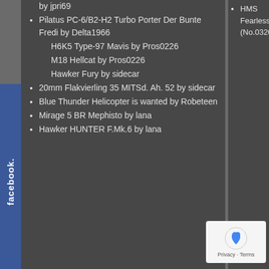by jpri69
Pilatus PC-6/B2-H2 Turbo Porter Der Bunte Fredi by Delta1966
H6K5 Type-97 Mavis by Pros0226
M18 Hellcat by Pros0226
Hawker Fury by sidecar
20mm Flakvierling 35 MITSd. Ah. 52 by sidecar
Blue Thunder Helicopter is wanted by Robeteen
Mirage 5 BR Mephisto by lana
Hawker HUNTER F.Mk.6 by lana
HMS Fearless (No.03205)